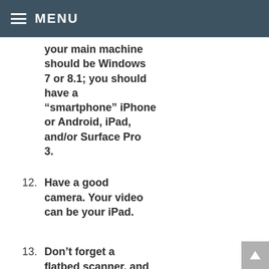MENU
your main machine should be Windows 7 or 8.1; you should have a “smartphone” iPhone or Android, iPad, and/or Surface Pro 3.
12. Have a good camera. Your video can be your iPad.
13. Don’t forget a flatbed scanner, and Fujitsu ScanSnap scanners at every desk!